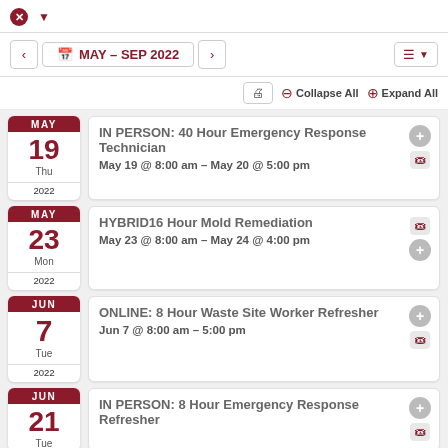MAY – SEP 2022 calendar navigation
IN PERSON: 40 Hour Emergency Response Technician | May 19 @ 8:00 am – May 20 @ 5:00 pm
HYBRID16 Hour Mold Remediation | May 23 @ 8:00 am – May 24 @ 4:00 pm
ONLINE: 8 Hour Waste Site Worker Refresher | Jun 7 @ 8:00 am – 5:00 pm
IN PERSON: 8 Hour Emergency Response Refresher